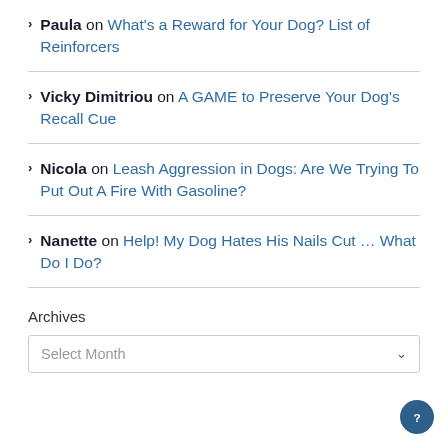Paula on What's a Reward for Your Dog? List of Reinforcers
Vicky Dimitriou on A GAME to Preserve Your Dog's Recall Cue
Nicola on Leash Aggression in Dogs: Are We Trying To Put Out A Fire With Gasoline?
Nanette on Help! My Dog Hates His Nails Cut … What Do I Do?
Archives
Select Month